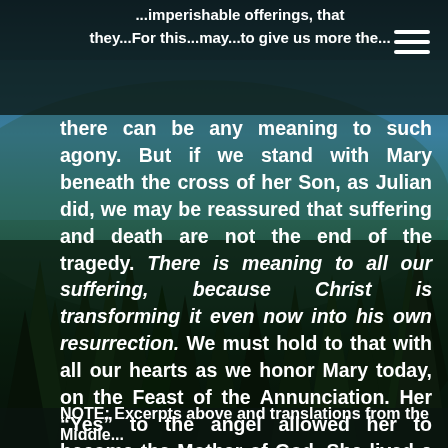...imperishable offerings that they...For this...may...to give us more the...
there can be any meaning to such agony. But if we stand with Mary beneath the cross of her Son, as Julian did, we may be reassured that suffering and death are not the end of the tragedy. There is meaning to all our suffering, because Christ is transforming it even now into his own resurrection. We must hold to that with all our hearts as we honor Mary today, on the Feast of the Annunciation. Her “Yes” to the angel allowed her to become the Mother of God. She lived a life of great joy and inconceivable sorrow. Yet eventually, she beheld her Son risen in glory. That is the divine transformation of suffering. Let us stand firm with Mary and with Julian, “highly rejoicing” that in Christ, “all shall be well.”
NOTE: Excerpts above and translations from the Middle...